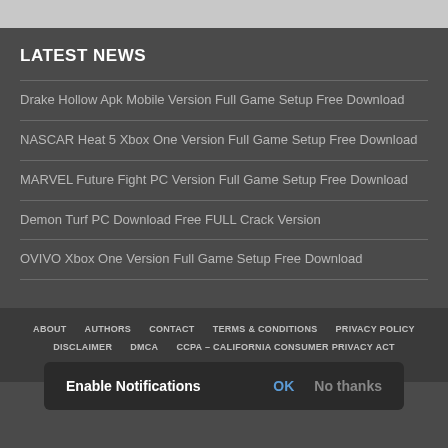LATEST NEWS
Drake Hollow Apk Mobile Version Full Game Setup Free Download
NASCAR Heat 5 Xbox One Version Full Game Setup Free Download
MARVEL Future Fight PC Version Full Game Setup Free Download
Demon Turf PC Download Free FULL Crack Version
OVIVO Xbox One Version Full Game Setup Free Download
ABOUT  AUTHORS  CONTACT  TERMS & CONDITIONS  PRIVACY POLICY  DISCLAIMER  DMCA  CCPA – CALIFORNIA CONSUMER PRIVACY ACT
Enable Notifications  OK  No thanks
Copyright © 2022 ePinGi.com